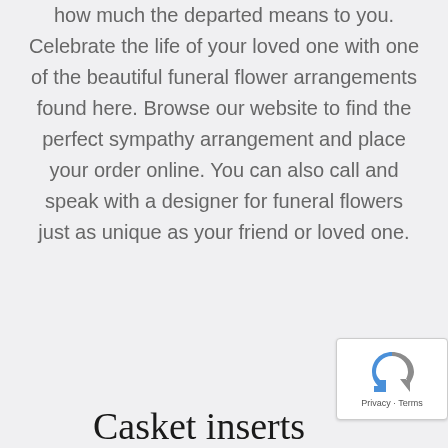how much the departed means to you. Celebrate the life of your loved one with one of the beautiful funeral flower arrangements found here. Browse our website to find the perfect sympathy arrangement and place your order online. You can also call and speak with a designer for funeral flowers just as unique as your friend or loved one.
[Figure (logo): Google reCAPTCHA badge with blue/grey arrow icon and Privacy · Terms text]
Casket inserts